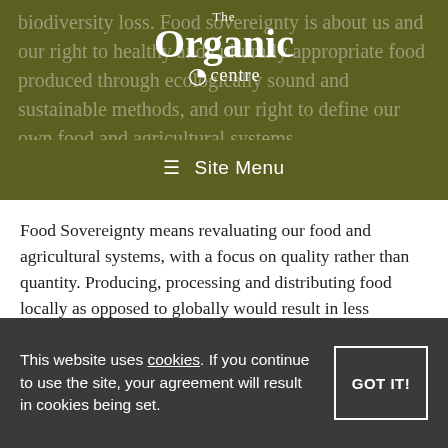The Organic centre — Site Menu
Food Sovereignty means revaluating our food and agricultural systems, with a focus on quality rather than quantity. Producing, processing and distributing food locally as opposed to globally would result in less transportation and less fossil fuel use. It also means more resilient food systems in times of global crises.

The Organic Centre has an important role in building
This website uses cookies. If you continue to use the site, your agreement will result in cookies being set. GOT IT!